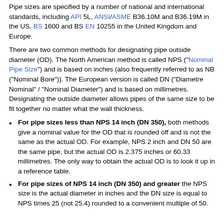Pipe sizes are specified by a number of national and international standards, including API 5L, ANSI/ASME B36.10M and B36.19M in the US, BS 1600 and BS EN 10255 in the United Kingdom and Europe.
There are two common methods for designating pipe outside diameter (OD). The North American method is called NPS ("Nominal Pipe Size") and is based on inches (also frequently referred to as NB ("Nominal Bore")). The European version is called DN ("Diametre Nominal" / "Nominal Diameter") and is based on millimetres. Designating the outside diameter allows pipes of the same size to be fit together no matter what the wall thickness.
For pipe sizes less than NPS 14 inch (DN 350), both methods give a nominal value for the OD that is rounded off and is not the same as the actual OD. For example, NPS 2 inch and DN 50 are the same pipe, but the actual OD is 2.375 inches or 60.33 millimetres. The only way to obtain the actual OD is to look it up in a reference table.
For pipe sizes of NPS 14 inch (DN 350) and greater the NPS size is the actual diameter in inches and the DN size is equal to NPS times 25 (not 25.4) rounded to a convenient multiple of 50.